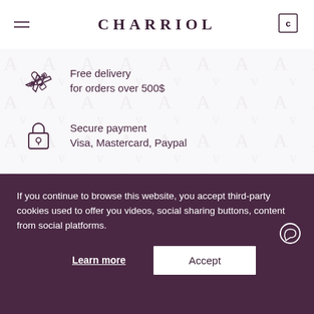CHARRIOL
Free delivery for orders over 500$
Secure payment Visa, Mastercard, Paypal
A question ? We are at your service
If you continue to browse this website, you accept third-party cookies used to offer you videos, social sharing buttons, content from social platforms.
Learn more
Accept